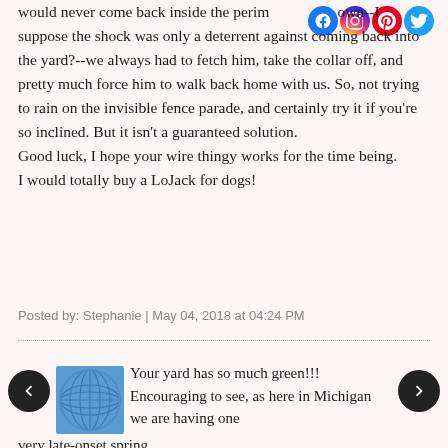would never come back inside the perimeter on its own--I suppose the shock was only a deterrent against coming back into the yard?--we always had to fetch him, take the collar off, and pretty much force him to walk back home with us. So, not trying to rain on the invisible fence parade, and certainly try it if you're so inclined. But it isn't a guaranteed solution.
Good luck, I hope your wire thingy works for the time being.
I would totally buy a LoJack for dogs!
Posted by: Stephanie | May 04, 2018 at 04:24 PM
[Figure (illustration): Decorative blue globe/sphere avatar image]
Your yard has so much green!!! Encouraging to see, as here in Michigan we are having one very late-onset spring.